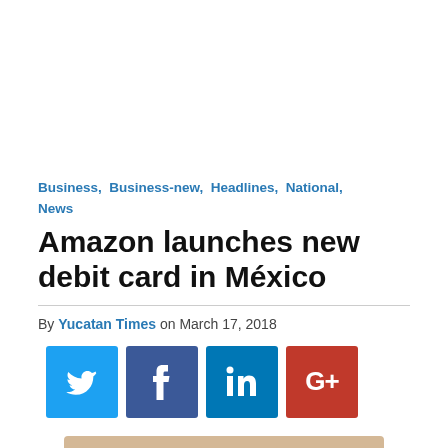Business, Business-new, Headlines, National, News
Amazon launches new debit card in México
By Yucatan Times on March 17, 2018
[Figure (other): Social media share buttons: Twitter, Facebook, LinkedIn, Google+]
[Figure (photo): Photo of Amazon debit card(s) on a tan/beige background showing Amazon logo and a fish (Banorte) logo]